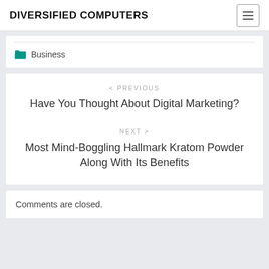DIVERSIFIED COMPUTERS
Business
< PREVIOUS
Have You Thought About Digital Marketing?
NEXT >
Most Mind-Boggling Hallmark Kratom Powder Along With Its Benefits
Comments are closed.